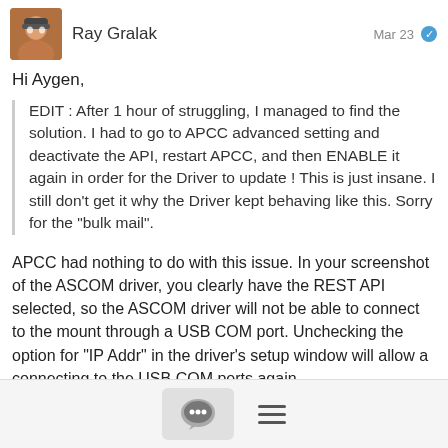Ray Gralak  Mar 23
Hi Aygen,
EDIT : After 1 hour of struggling, I managed to find the solution. I had to go to APCC advanced setting and deactivate the API, restart APCC, and then ENABLE it again in order for the Driver to update ! This is just insane. I
still don't get it why the Driver kept behaving like this. Sorry for the "bulk mail".
APCC had nothing to do with this issue. In your screenshot of the ASCOM driver, you clearly have the REST API selected, so the ASCOM driver will not be able to connect to the mount through a USB COM port. Unchecking the option for "IP Addr" in the driver's setup window will allow a connecting to the USB COM ports again.
[Figure (other): Bottom navigation bar with chat bubble icon button and hamburger menu icon]